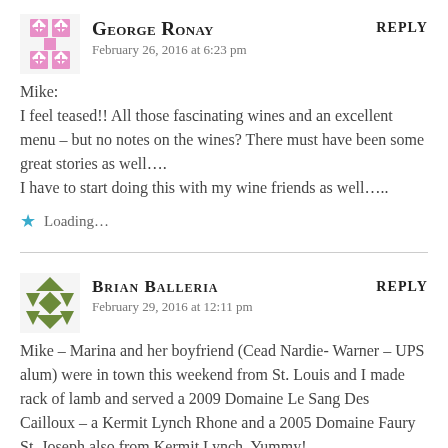GEORGE RONAY says:
February 26, 2016 at 6:23 pm
REPLY
Mike:
I feel teased!! All those fascinating wines and an excellent menu – but no notes on the wines? There must have been some great stories as well….
I have to start doing this with my wine friends as well…..
Loading...
BRIAN BALLERIA says:
February 29, 2016 at 12:11 pm
REPLY
Mike – Marina and her boyfriend (Cead Nardie- Warner – UPS alum) were in town this weekend from St. Louis and I made rack of lamb and served a 2009 Domaine Le Sang Des Cailloux – a Kermit Lynch Rhone and a 2005 Domaine Faury St. Joseph also from Kermit Lynch. Yummy!
Marina just heard today that she was accepted at Carnegie Mellon...